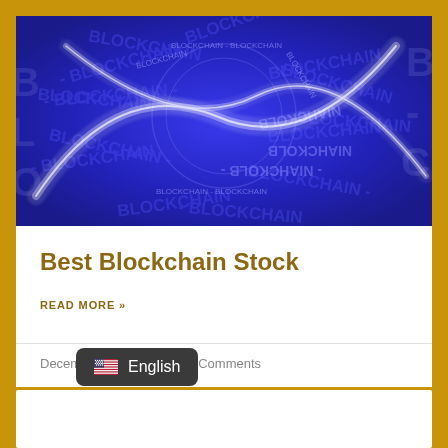[Figure (photo): Blue blockchain-themed background with the word BLOCKCHAIN repeated in various orientations, overlaid with a glowing white wave/ribbon shape suggesting data flow or DNA helix.]
Best Blockchain Stock
READ MORE »
December 13, 2021 • No Comments
🇺🇸 English